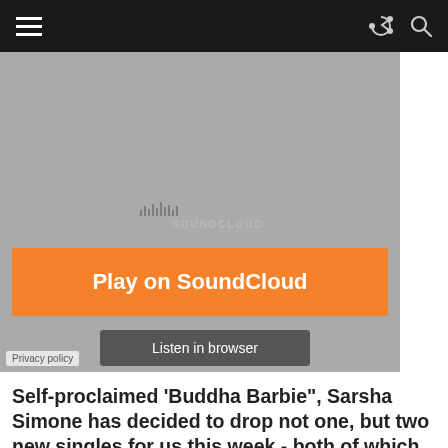[Figure (screenshot): Dark navigation bar with hamburger menu icon on left, share and search icons on right]
[Figure (screenshot): SoundCloud embedded audio player with gray background, orange 'Play on SoundCloud' button, and 'Listen in browser' button. Privacy policy link at bottom left.]
Self-proclaimed 'Buddha Barbie", Sarsha Simone has decided to drop not one, but two new singles for us this week - both of which are worthy of treating your